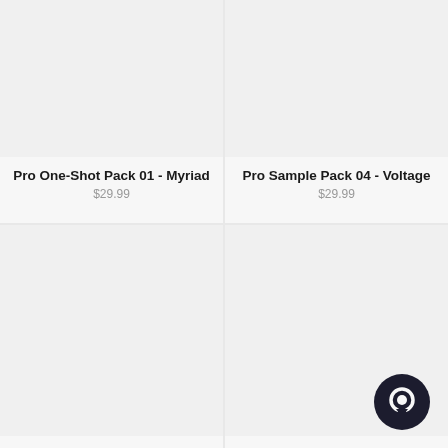[Figure (screenshot): Product image placeholder for Pro One-Shot Pack 01 - Myriad]
Pro One-Shot Pack 01 - Myriad
$29.99
[Figure (screenshot): Product image placeholder for Pro Sample Pack 04 - Voltage]
Pro Sample Pack 04 - Voltage
$29.99
[Figure (screenshot): Product image placeholder, bottom left]
[Figure (screenshot): Product image placeholder, bottom right, with chat bubble icon]